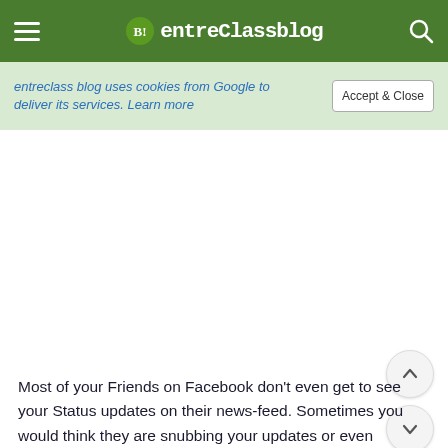entreClassblog
entreclass blog uses cookies from Google to deliver its services. Learn more
[Figure (screenshot): White advertisement/empty content area with up and down scroll arrow buttons on the right side]
Most of your Friends on Facebook don't even get to see your Status updates on their news-feed. Sometimes you would think they are snubbing your updates or even overlook it. You might just be wrong.